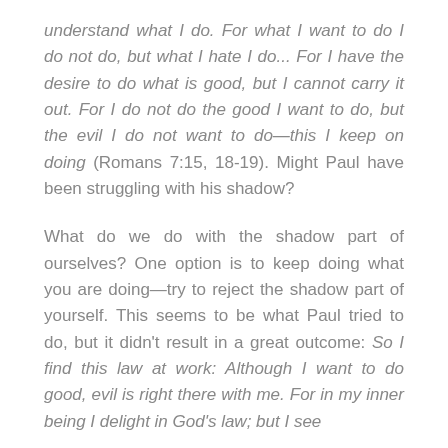understand what I do. For what I want to do I do not do, but what I hate I do... For I have the desire to do what is good, but I cannot carry it out. For I do not do the good I want to do, but the evil I do not want to do—this I keep on doing (Romans 7:15, 18-19). Might Paul have been struggling with his shadow?
What do we do with the shadow part of ourselves? One option is to keep doing what you are doing—try to reject the shadow part of yourself. This seems to be what Paul tried to do, but it didn't result in a great outcome: So I find this law at work: Although I want to do good, evil is right there with me. For in my inner being I delight in God's law; but I see